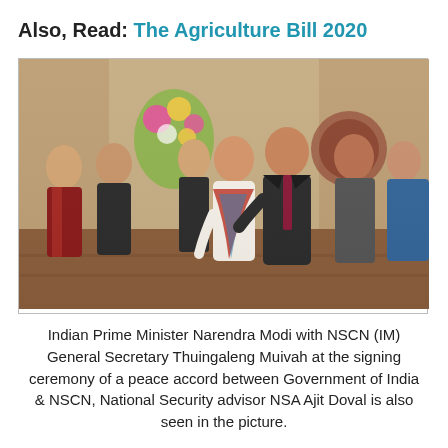Also, Read: The Agriculture Bill 2020
[Figure (photo): Indian Prime Minister Narendra Modi with NSCN (IM) General Secretary Thuingaleng Muivah and other officials at the signing ceremony of a peace accord. Several men in suits and traditional Naga attire stand together in an indoor venue with floral arrangements.]
Indian Prime Minister Narendra Modi with NSCN (IM) General Secretary Thuingaleng Muivah at the signing ceremony of a peace accord between Government of India & NSCN, National Security advisor NSA Ajit Doval is also seen in the picture.